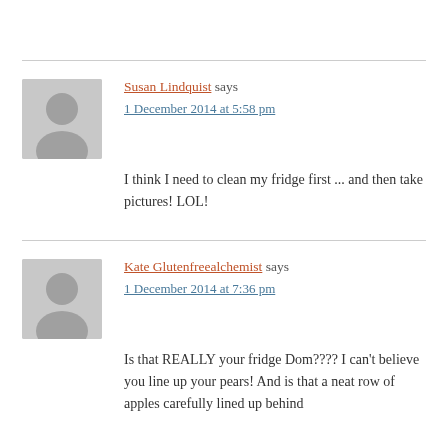Susan Lindquist says
1 December 2014 at 5:58 pm
I think I need to clean my fridge first ... and then take pictures! LOL!
Kate Glutenfreealchemist says
1 December 2014 at 7:36 pm
Is that REALLY your fridge Dom???? I can't believe you line up your pears! And is that a neat row of apples carefully lined up behind